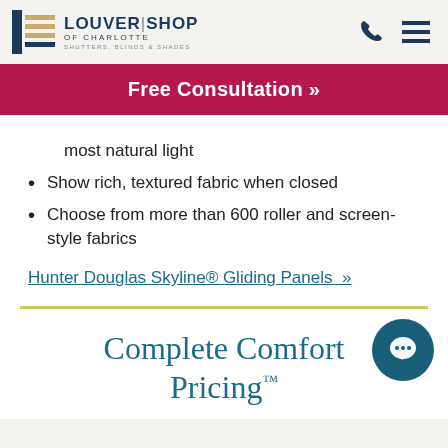Louver Shop of Charlotte | Shutters, Blinds & Shades
Free Consultation »
most natural light
Show rich, textured fabric when closed
Choose from more than 600 roller and screen-style fabrics
Hunter Douglas Skyline® Gliding Panels »
Complete Comfort Pricing™